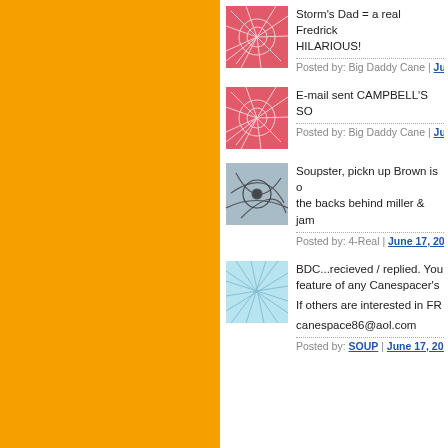[Figure (illustration): Orange sidebar filling left portion of page]
Storm's Dad = a real Fredrick... HILARIOUS! Posted by: Big Daddy Cane | June...
E-mail sent CAMPBELL'S SO... Posted by: Big Daddy Cane | June...
Soupster, pickn up Brown is ... the backs behind miller & jam... Posted by: 4-Real | June 17, 2011 a...
BDC...recieved / replied. You... feature of any Canespacer's ...

If others are interested in FR...

canespace86@aol.com

Posted by: SOUP | June 17, 2011 a...